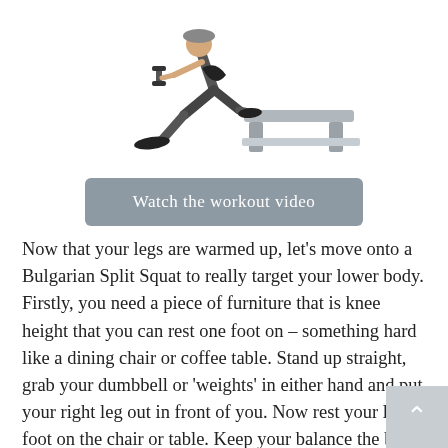[Figure (photo): Person performing a Bulgarian Split Squat exercise with a dumbbell, one foot elevated on a bench/platform. The figure is shown in profile, in a squat position with gym equipment visible.]
Watch the workout video
Now that your legs are warmed up, let's move onto a Bulgarian Split Squat to really target your lower body. Firstly, you need a piece of furniture that is knee height that you can rest one foot on – something hard like a dining chair or coffee table. Stand up straight, grab your dumbbell or 'weights' in either hand and put your right leg out in front of you. Now rest your left foot on the chair or table. Keep your balance the be you can and slowly squat downwards. You should feel this working your quads and glutes.